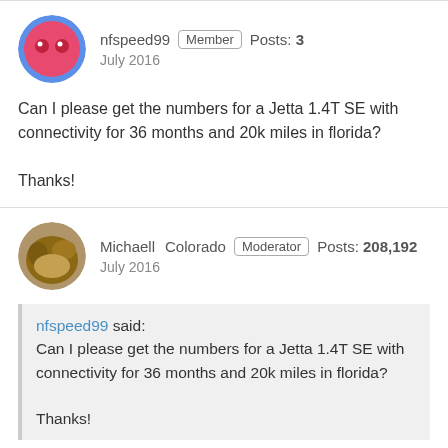nfspeed99  Member  Posts: 3
July 2016

Can I please get the numbers for a Jetta 1.4T SE with connectivity for 36 months and 20k miles in florida?

Thanks!
Michaell  Colorado  Moderator  Posts: 208,192
July 2016

nfspeed99 said:
Can I please get the numbers for a Jetta 1.4T SE with connectivity for 36 months and 20k miles in florida?

Thanks!
.00005 and 49% for 36/15. $1750 lease cash. You should speak